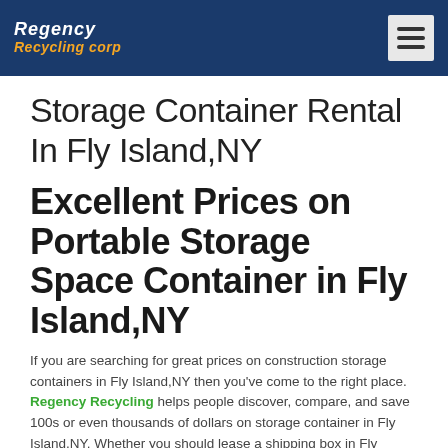Regency Recycling corp
Storage Container Rental In Fly Island,NY
Excellent Prices on Portable Storage Space Container in Fly Island,NY
If you are searching for great prices on construction storage containers in Fly Island,NY then you've come to the right place. Regency Recycling helps people discover, compare, and save 100s or even thousands of dollars on storage container in Fly Island,NY. Whether you should lease a shipping box in Fly Island,NY for a few years, lease